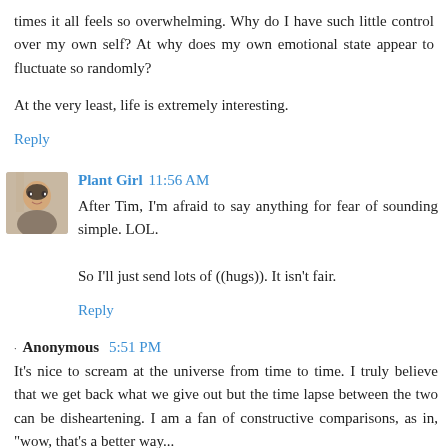times it all feels so overwhelming. Why do I have such little control over my own self? At why does my own emotional state appear to fluctuate so randomly?
At the very least, life is extremely interesting.
Reply
Plant Girl  11:56 AM
After Tim, I'm afraid to say anything for fear of sounding simple. LOL.

So I'll just send lots of ((hugs)). It isn't fair.
Reply
Anonymous  5:51 PM
It's nice to scream at the universe from time to time. I truly believe that we get back what we give out but the time lapse between the two can be disheartening. I am a fan of constructive comparisons, as in, "wow, that's a better way...